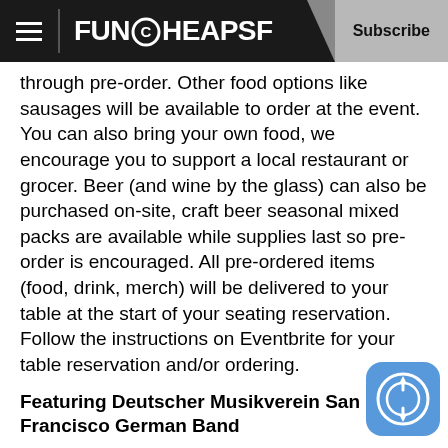FUNCHEAPSF | Subscribe
through pre-order. Other food options like sausages will be available to order at the event. You can also bring your own food, we encourage you to support a local restaurant or grocer. Beer (and wine by the glass) can also be purchased on-site, craft beer seasonal mixed packs are available while supplies last so pre-order is encouraged. All pre-ordered items (food, drink, merch) will be delivered to your table at the start of your seating reservation. Follow the instructions on Eventbrite for your table reservation and/or ordering.
Featuring Deutscher Musikverein San Francisco German Band
Performing in the Bay Area since 1938 in the German “Blaskapelle” style. The repertoire includes traditional music including polkas, waltzes, Schottisches and more as well as contemporary German party music. Audience